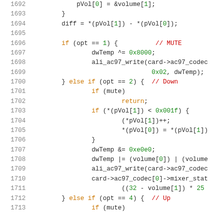[Figure (screenshot): Source code listing lines 1692-1713 in C, showing volume control logic with if/else branches for MUTE, Down, and Up options using ali_ac97_write calls.]